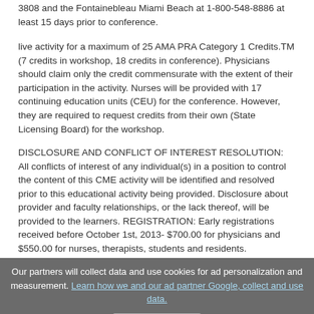3808 and the Fontainebleau Miami Beach at 1-800-548-8886 at least 15 days prior to conference.
live activity for a maximum of 25 AMA PRA Category 1 Credits.TM (7 credits in workshop, 18 credits in conference). Physicians should claim only the credit commensurate with the extent of their participation in the activity. Nurses will be provided with 17 continuing education units (CEU) for the conference. However, they are required to request credits from their own (State Licensing Board) for the workshop.
DISCLOSURE AND CONFLICT OF INTEREST RESOLUTION: All conflicts of interest of any individual(s) in a position to control the content of this CME activity will be identified and resolved prior to this educational activity being provided. Disclosure about provider and faculty relationships, or the lack thereof, will be provided to the learners. REGISTRATION: Early registrations received before October 1st, 2013- $700.00 for physicians and $550.00 for nurses, therapists, students and residents. Institutional documentation of resident/student
Our partners will collect data and use cookies for ad personalization and measurement. Learn how we and our ad partner Google, collect and use data. Agree & close